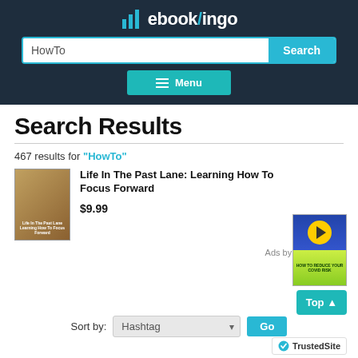[Figure (screenshot): ebooklingo website header with logo, search bar with 'HowTo' query, and teal Menu button]
Search Results
467 results for "HowTo"
[Figure (screenshot): Book cover for 'Life In The Past Lane: Learning How To Focus Forward']
Life In The Past Lane: Learning How To Focus Forward
$9.99
[Figure (screenshot): Amazon ad book cover - How to Reduce Your COVID Risk]
Ads by Amazon
Sort by: Hashtag  Go
[Figure (logo): TrustedSite badge]